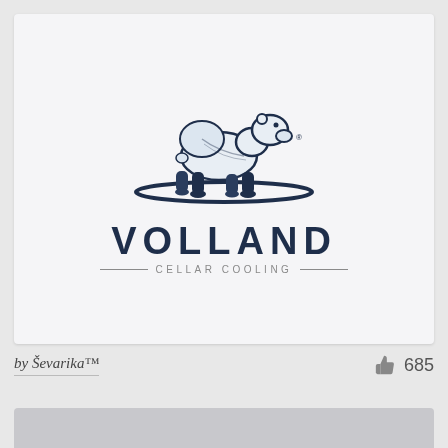[Figure (logo): Volland Cellar Cooling logo featuring a walking polar bear mascot in dark navy blue above the brand name VOLLAND in large bold letters, with CELLAR COOLING in smaller spaced lettering below, flanked by decorative lines]
by Ševarika™
685